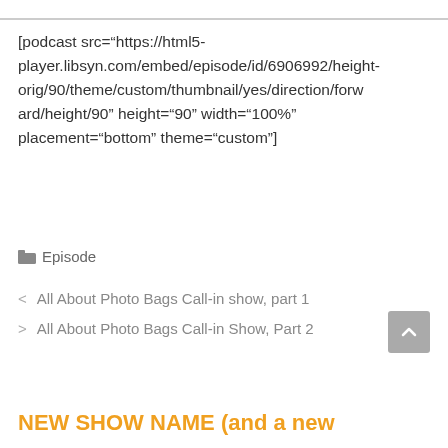[podcast src="https://html5-player.libsyn.com/embed/episode/id/6906992/height-orig/90/theme/custom/thumbnail/yes/direction/forward/height/90" height="90" width="100%" placement="bottom" theme="custom"]
Episode
< All About Photo Bags Call-in show, part 1
> All About Photo Bags Call-in Show, Part 2
NEW SHOW NAME (and a new